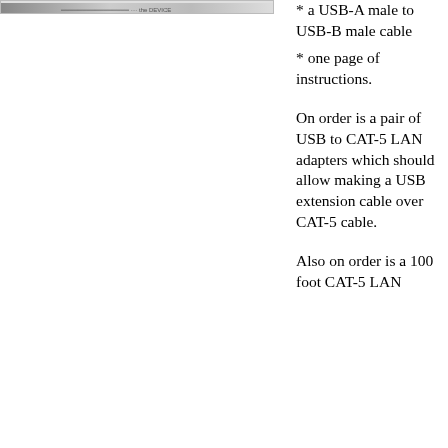[Figure (photo): Partial view of a photo at the top of the page, appears to show a cable or USB device]
* a USB-A male to USB-B male cable
* one page of instructions.
On order is a pair of USB to CAT-5 LAN adapters which should allow making a USB extension cable over CAT-5 cable.
Also on order is a 100 foot CAT-5 LAN